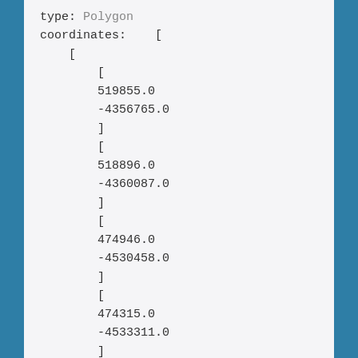type: Polygon
coordinates:    [
    [
        [
        519855.0
        -4356765.0
        ]
        [
        518896.0
        -4360087.0
        ]
        [
        474946.0
        -4530458.0
        ]
        [
        474315.0
        -4533311.0
        ]
        [